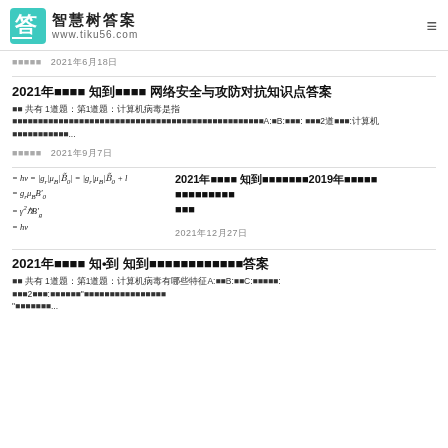智慧树答案 www.tiku56.com
发布时间  2021年6月18日
2021年春学期 知到智慧树 网络安全与攻防对抗知识点答案
共 共有 1道题：第1道题：计算机病毒是指...什么不是计算机病毒?A:木B:C:蠕虫: 第2道题:计算机...
发布时间  2021年9月7日
= hv = |g_r|μ_B|B'_0| = |g_r|μ_B|B_0 + h = g_rμ_BB'_0 = γ²ℏB'_g = hν
2021学年秋 知到智慧树2019版本大连理工大学 有机化学答案
2021年12月27日
2021年秋学期 知•到 知到智慧树网络安全基础知识答案
共 共有 1道题：第1道题:计算机病毒有哪些特征A:传B:自C:破坏性: 第2道题:什么叫做"计算机病毒"?...